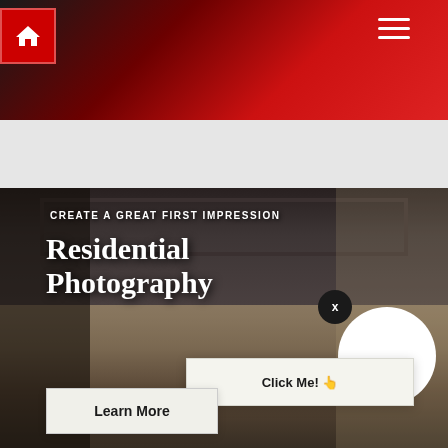[Figure (screenshot): Website header with dark-to-red gradient background, white home icon button top-left, hamburger menu icon top-right]
[Figure (photo): Interior living room photo used as hero background image with dark overlay]
CREATE A GREAT FIRST IMPRESSION
Residential Photography
X (close button)
Click Me! 👆
Learn More